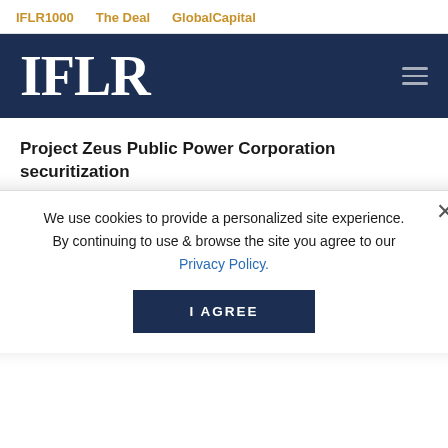IFLR1000   The Deal   GlobalCapital
[Figure (logo): IFLR logo in white on dark navy background with hamburger menu icon]
Project Zeus Public Power Corporation securitization
Bernitsas Law
DLA Piper
Latham & Watkins
Linklaters
Milbank
We use cookies to provide a personalized site experience. By continuing to use & browse the site you agree to our Privacy Policy.